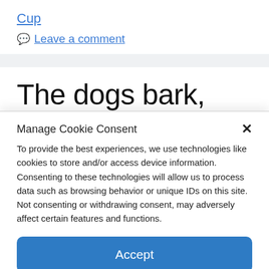Cup
Leave a comment
The dogs bark,
Manage Cookie Consent
To provide the best experiences, we use technologies like cookies to store and/or access device information. Consenting to these technologies will allow us to process data such as browsing behavior or unique IDs on this site. Not consenting or withdrawing consent, may adversely affect certain features and functions.
Accept
Cookie Policy